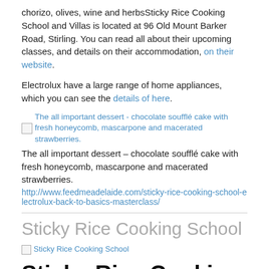chorizo, olives, wine and herbsSticky Rice Cooking School and Villas is located at 96 Old Mount Barker Road, Stirling. You can read all about their upcoming classes, and details on their accommodation, on their website.
Electrolux have a large range of home appliances, which you can see the details of here.
[Figure (photo): Broken image placeholder linking to: The all important dessert - chocolate soufflé cake with fresh honeycomb, mascarpone and macerated strawberries.]
The all important dessert – chocolate soufflé cake with fresh honeycomb, mascarpone and macerated strawberries.
http://www.feedmeadelaide.com/sticky-rice-cooking-school-electrolux-back-to-basics-masterclass/
Sticky Rice Cooking School
[Figure (photo): Broken image placeholder: Sticky Rice Cooking School]
Sticky Rice Cooking School